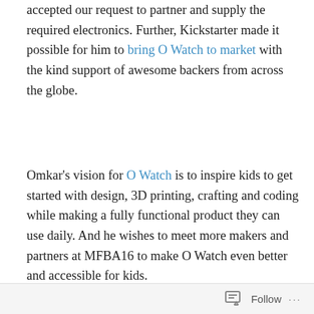accepted our request to partner and supply the required electronics. Further, Kickstarter made it possible for him to bring O Watch to market with the kind support of awesome backers from across the globe.
Omkar's vision for O Watch is to inspire kids to get started with design, 3D printing, crafting and coding while making a fully functional product they can use daily. And he wishes to meet more makers and partners at MFBA16 to make O Watch even better and accessible for kids.
If you are in Bay Area, don't miss Maker Faire! It is the event where kids will get exposure to all types of making and meet budding entrepreneurs to experience first hand the basics of kickstarting a